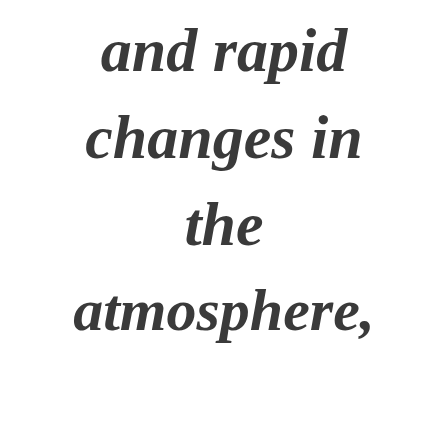and rapid changes in the atmosphere,